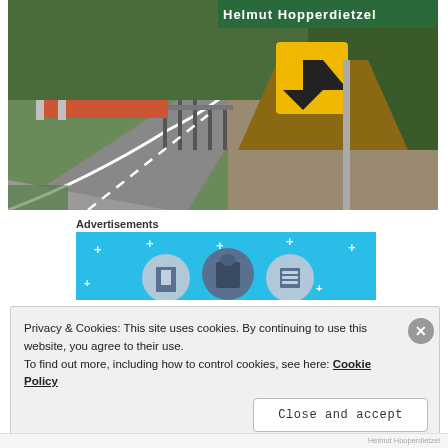[Figure (photo): Road scene with a winding road, guardrails, crash barriers, a yellow curved arrow warning sign, and a green road sign partially visible at top reading 'Helmut Hopperdietzel'. Rocky hillside with vegetation in background.]
Advertisements
[Figure (illustration): Advertisement banner with light blue background, white plus signs scattered around, and three circular icons depicting building/garage icons.]
Privacy & Cookies: This site uses cookies. By continuing to use this website, you agree to their use.
To find out more, including how to control cookies, see here: Cookie Policy
Close and accept